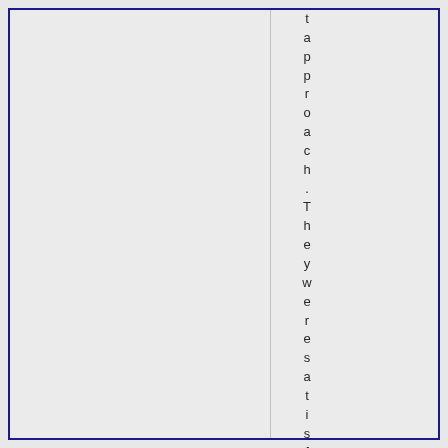approach. They were satisfied havi